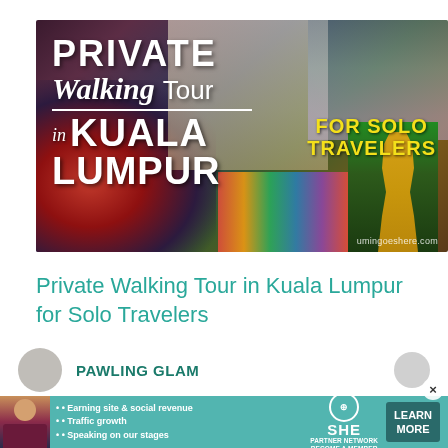[Figure (photo): Hero image for a travel blog post showing Kuala Lumpur landmarks (Petronas Towers, colorful temple, golden statue) with overlaid text reading 'PRIVATE Walking Tour in KUALA LUMPUR FOR SOLO TRAVELERS' and website credit 'umingoeshere.com']
Private Walking Tour in Kuala Lumpur for Solo Travelers
33 Comments
PAWLING GLAM